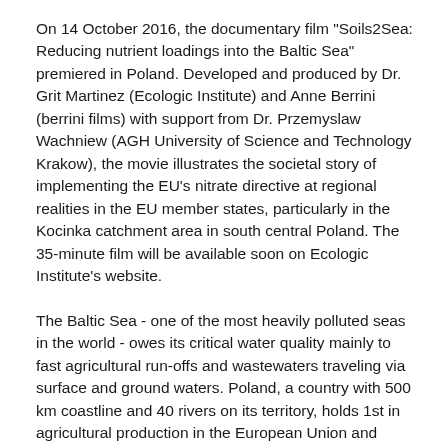On 14 October 2016, the documentary film "Soils2Sea: Reducing nutrient loadings into the Baltic Sea" premiered in Poland. Developed and produced by Dr. Grit Martinez (Ecologic Institute) and Anne Berrini (berrini films) with support from Dr. Przemyslaw Wachniew (AGH University of Science and Technology Krakow), the movie illustrates the societal story of implementing the EU's nitrate directive at regional realities in the EU member states, particularly in the Kocinka catchment area in south central Poland. The 35-minute film will be available soon on Ecologic Institute's website.
The Baltic Sea - one of the most heavily polluted seas in the world - owes its critical water quality mainly to fast agricultural run-offs and wastewaters traveling via surface and ground waters. Poland, a country with 500 km coastline and 40 rivers on its territory, holds 1st in agricultural production in the European Union and makes up 50% of the entire population of the Baltic Sea drainage basin.
Filmed across several small and lager scale farms in the Kocinka catchment, the film features perceptions, interpretations, and suggestions for actions by farmers,